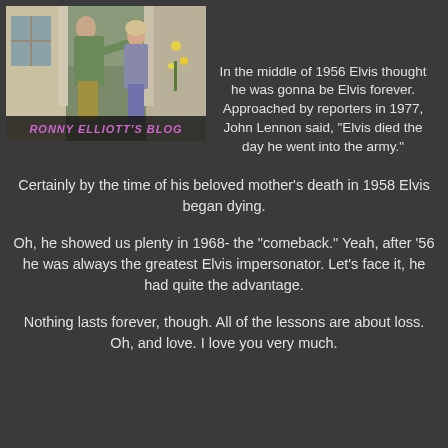[Figure (photo): Vintage photo of two people on a porch, with 'RONNY ELLIOTT'S BLOG' text overlay at the bottom]
In the middle of 1956 Elvis thought he was gonna be Elvis forever. Approached by reporters in 1977, John Lennon said, "Elvis died the day he went into the army."
Certainly by the time of his beloved mother's death in 1958 Elvis began dying.
Oh, he showed us plenty in 1968- the "comeback." Yeah, after '56 he was always the greatest Elvis impersonator. Let's face it, he had quite the advantage.
Nothing lasts forever, though. All of the lessons are about loss. Oh, and love. I love you very much.